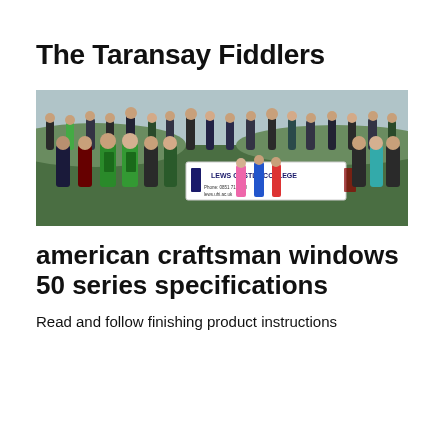The Taransay Fiddlers
[Figure (photo): Group photo of many people standing outdoors on grass, some wearing aprons, holding a banner reading 'LEWS CASTLE COLLEGE']
american craftsman windows 50 series specifications
Read and follow finishing product instructions